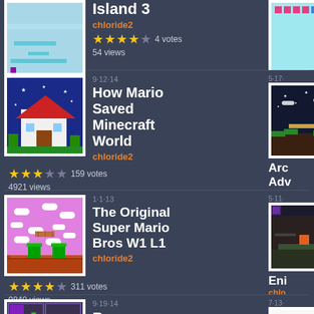[Figure (screenshot): Game thumbnail for Island 3, light blue background with platformer elements]
Island 3
chloride2
4 votes
54 views
[Figure (screenshot): Game thumbnail showing How Mario Saved Minecraft World with castle on blue background]
9·12·14
How Mario Saved Minecraft World
chloride2
159 votes
4921 views
[Figure (screenshot): Night sky with platformer terrain for Arcane Adventure]
5·17·
Aro Adv
chlo
131 v
[Figure (screenshot): Pink background Super Mario Bros level with clouds]
1·1·13
The Original Super Mario Bros W1 L1
chloride2
311 votes
9840 views
[Figure (screenshot): Dark cave/dungeon scene for Enigma game]
5·11·
Eni
chlo
1255
[Figure (screenshot): Top-down map/puzzle game thumbnail for Pressure]
9·19·14
Pressure
chloride2
57 votes
[Figure (screenshot): Google logo parody thumbnail for Find It On... game]
7·13·
Fin On
chlo